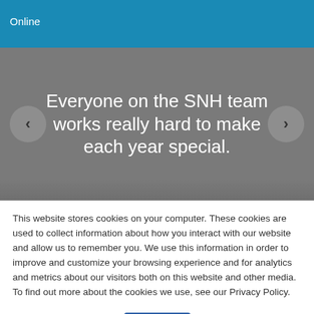Online
Everyone on the SNH team works really hard to make each year special.
This website stores cookies on your computer. These cookies are used to collect information about how you interact with our website and allow us to remember you. We use this information in order to improve and customize your browsing experience and for analytics and metrics about our visitors both on this website and other media. To find out more about the cookies we use, see our Privacy Policy.
OK